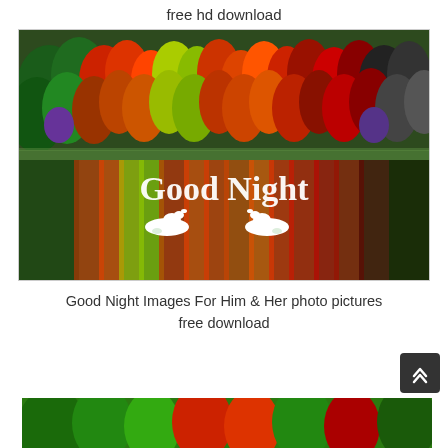free hd download
[Figure (photo): Colorful autumn forest reflected in a lake with two white swans, overlaid with white text 'Good Night']
Good Night Images For Him & Her photo pictures free download
[Figure (photo): Partial view of a colorful green and red forest scene at the bottom of the page]